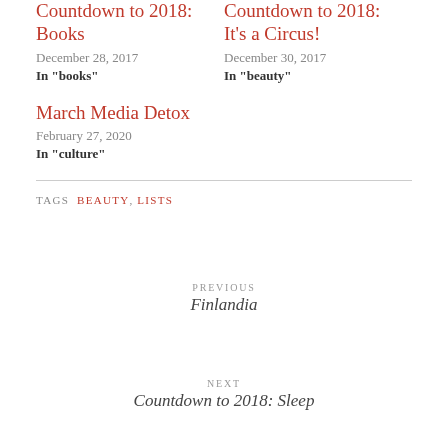Countdown to 2018: Books
December 28, 2017
In "books"
Countdown to 2018: It's a Circus!
December 30, 2017
In "beauty"
March Media Detox
February 27, 2020
In "culture"
TAGS  BEAUTY, LISTS
PREVIOUS
Finlandia
NEXT
Countdown to 2018: Sleep